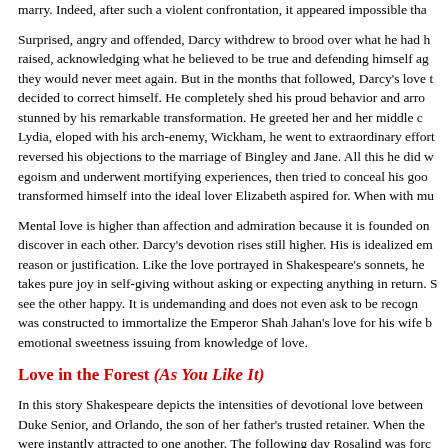marry. Indeed, after such a violent confrontation, it appeared impossible tha...
Surprised, angry and offended, Darcy withdrew to brood over what he had raised, acknowledging what he believed to be true and defending himself ag... they would never meet again. But in the months that followed, Darcy's love decided to correct himself. He completely shed his proud behavior and arro... stunned by his remarkable transformation. He greeted her and her middle cl... Lydia, eloped with his arch-enemy, Wickham, he went to extraordinary effort... reversed his objections to the marriage of Bingley and Jane. All this he did... egoism and underwent mortifying experiences, then tried to conceal his goo... transformed himself into the ideal lover Elizabeth aspired for. When with mu...
Mental love is higher than affection and admiration because it is founded on... discover in each other. Darcy's devotion rises still higher. His is idealized em... reason or justification. Like the love portrayed in Shakespeare's sonnets, he... takes pure joy in self-giving without asking or expecting anything in return. S... see the other happy. It is undemanding and does not even ask to be recogn... was constructed to immortalize the Emperor Shah Jahan's love for his wife... emotional sweetness issuing from knowledge of love.
Love in the Forest (As You Like It)
In this story Shakespeare depicts the intensities of devotional love between... Duke Senior, and Orlando, the son of her father's trusted retainer. When the... were instantly attracted to one another. The following day Rosalind was forc... imprisonment by her uncle who has assumed power after her father's tempo... the forest to escape his brother's plot to kill him. There he meets Rosalind, w... her identity. Ignorant that he is indeed in the presence of his beloved. Orla...